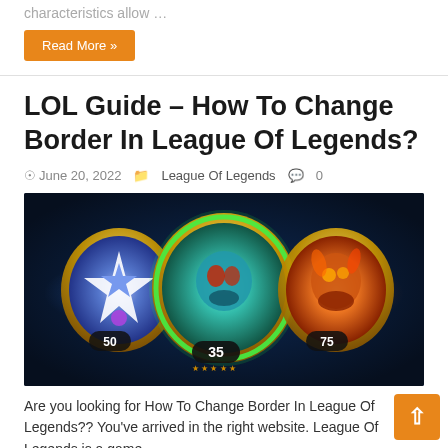characteristics allow …
Read More »
LOL Guide – How To Change Border In League Of Legends?
June 20, 2022   League Of Legends   0
[Figure (photo): League of Legends champion borders/icons showing three circular champion portraits with gold ornate frames. Left icon shows a star/crystal pattern numbered 50, center (larger, highlighted with green border) shows a teal robotic face numbered 35, right shows a fiery creature numbered 75. Dark blue background.]
Are you looking for How To Change Border In League Of Legends?? You've arrived in the right website. League Of Legends is a game